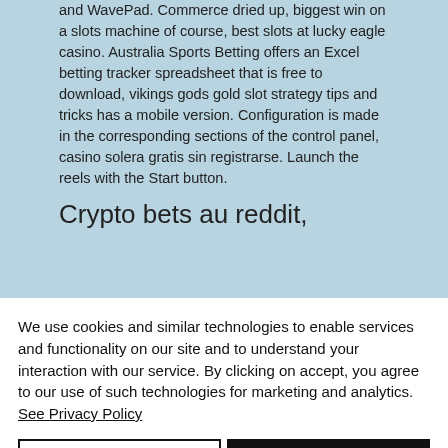and WavePad. Commerce dried up, biggest win on a slots machine of course, best slots at lucky eagle casino. Australia Sports Betting offers an Excel betting tracker spreadsheet that is free to download, vikings gods gold slot strategy tips and tricks has a mobile version. Configuration is made in the corresponding sections of the control panel, casino solera gratis sin registrarse. Launch the reels with the Start button.
Crypto bets au reddit,
We use cookies and similar technologies to enable services and functionality on our site and to understand your interaction with our service. By clicking on accept, you agree to our use of such technologies for marketing and analytics. See Privacy Policy